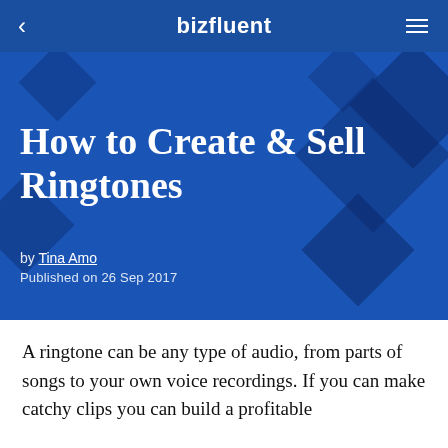bizfluent
How to Create & Sell Ringtones
by Tina Amo
Published on 26 Sep 2017
A ringtone can be any type of audio, from parts of songs to your own voice recordings. If you can make catchy clips you can build a profitable business. There are many avenues for you to ...